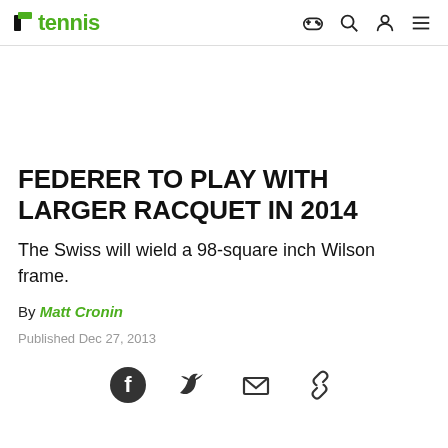tennis
FEDERER TO PLAY WITH LARGER RACQUET IN 2014
The Swiss will wield a 98-square inch Wilson frame.
By Matt Cronin
Published Dec 27, 2013
[Figure (other): Social share icons: Facebook, Twitter, Email, Link]